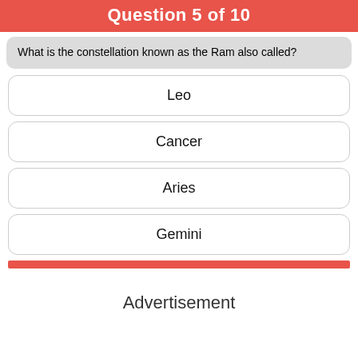Question 5 of 10
What is the constellation known as the Ram also called?
Leo
Cancer
Aries
Gemini
Advertisement